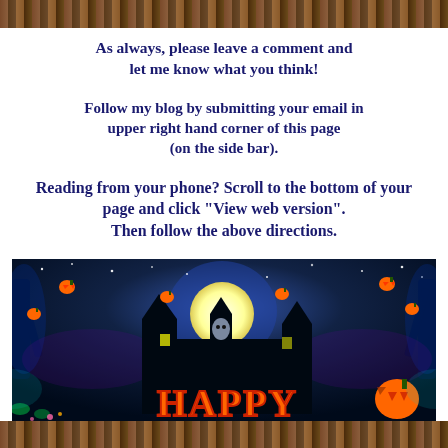As always, please leave a comment and let me know what you think!
Follow my blog by submitting your email in upper right hand corner of this page (on the side bar).
Reading from your phone? Scroll to the bottom of your page and click "View web version". Then follow the above directions.
[Figure (illustration): Halloween themed illustration with pumpkins, haunted house silhouette, full moon, blue glowing trees, and 'HAPPY' text at the bottom in orange letters.]